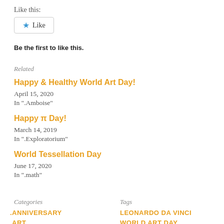Like this:
[Figure (other): Like button with blue star icon and 'Like' label, bordered box]
Be the first to like this.
Related
Happy & Healthy World Art Day!
April 15, 2020
In ".Amboise"
Happy π Day!
March 14, 2019
In ".Exploratorium"
World Tessellation Day
June 17, 2020
In ".math"
Categories
Tags
.ANNIVERSARY
LEONARDO DA VINCI
.ART
WORLD ART DAY